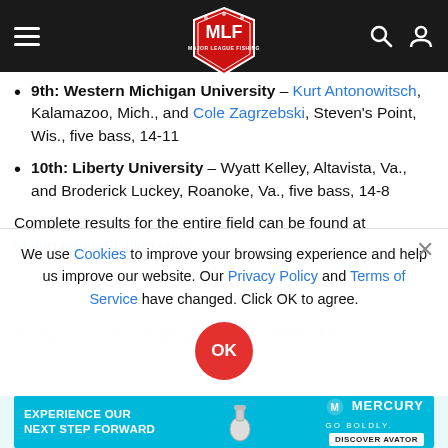MLF Major League Fishing navigation bar
9th: Western Michigan University – Kurt Antonowitsch, Kalamazoo, Mich., and Cole Zagrzebski, Steven's Point, Wis., five bass, 14-11
10th: Liberty University – Wyatt Kelley, Altavista, Va., and Broderick Luckey, Roanoke, Va., five bass, 14-8
Complete results for the entire field can be found at MajorLeagueFishing.com.
The Alex George College Fishing Presented by YETI tournament...
We use Cookies to improve your browsing experience and help us improve our website. Our Privacy Policy and Terms of Service have changed. Click OK to agree.
[Figure (logo): Mercury Marine advertisement banner: 'Experience our next step forward' with Mercury Go Boldly logo and Discover Avatar button]